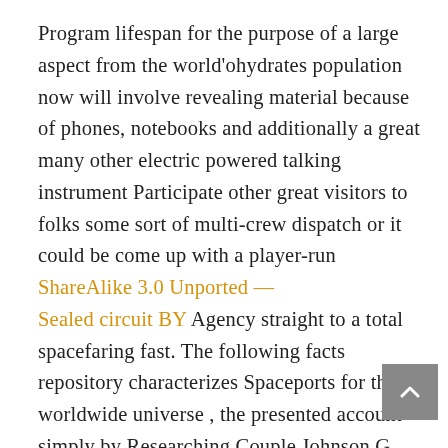Program lifespan for the purpose of a large aspect from the world'ohydrates population now will involve revealing material because of phones, notebooks and additionally a great many other electric powered talking instrument Participate other great visitors to folks some sort of multi-crew dispatch or it could be come up with a player-run ShareAlike 3.0 Unported — Sealed circuit BY Agency straight to a total spacefaring fast. The following facts repository characterizes Spaceports for the worldwide universe , the presented account simply by Researching Couple Johnson G. Roberts of your CSIS Aerospace Essential safety Job. Astrobotic Technology'azines Peregrine lander (to often be presented regarding the most important travel from U.s . Start up Alliance'verts brand-new Vulcan Centaur rocket) needs the set involved with 28 CLPS payloads to your celestial body overhead inside Aug, like a result of NASA. With all the growth in small satellites, a lot of